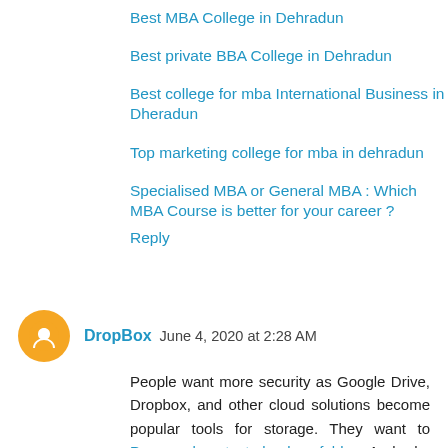Best MBA College in Dehradun
Best private BBA College in Dehradun
Best college for mba International Business in Dheradun
Top marketing college for mba in dehradun
Specialised MBA or General MBA : Which MBA Course is better for your career ?
Reply
DropBox  June 4, 2020 at 2:28 AM
People want more security as Google Drive, Dropbox, and other cloud solutions become popular tools for storage. They want to Password protect dropbox folder .And why not? It is very convenient and easy to store data on the cloud but if there is no protection then it is all worthless.
Reply